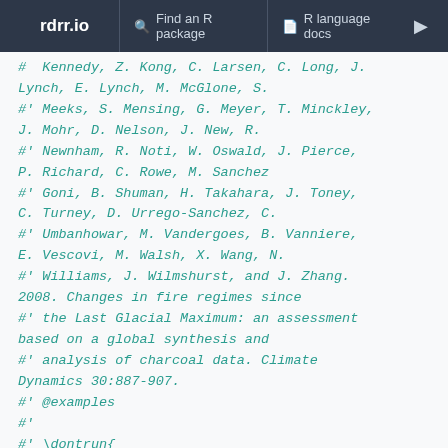rdrr.io   Find an R package   R language docs
#  Kennedy, Z. Kong, C. Larsen, C. Long, J. Lynch, E. Lynch, M. McGlone, S.
#' Meeks, S. Mensing, G. Meyer, T. Minckley, J. Mohr, D. Nelson, J. New, R.
#' Newnham, R. Noti, W. Oswald, J. Pierce, P. Richard, C. Rowe, M. Sanchez
#' Goni, B. Shuman, H. Takahara, J. Toney, C. Turney, D. Urrego-Sanchez, C.
#' Umbanhowar, M. Vandergoes, B. Vanniere, E. Vescovi, M. Walsh, X. Wang, N.
#' Williams, J. Wilmshurst, and J. Zhang. 2008. Changes in fire regimes since
#' the Last Glacial Maximum: an assessment based on a global synthesis and
#' analysis of charcoal data. Climate Dynamics 30:887-907.
#' @examples
#'
#' \dontrun{
#' ID=pfSiteSel(continent=="North America", l12==1 & long<(-130))